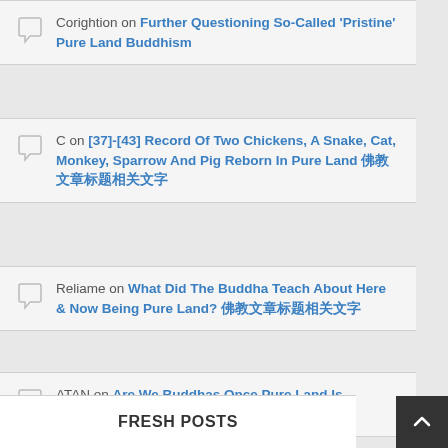Corightion on Further Questioning So-Called 'Pristine' Pure Land Buddhism
C on [37]-[43] Record Of Two Chickens, A Snake, Cat, Monkey, Sparrow And Pig Reborn In Pure Land 佛教文章标题相关文字
Reliame on What Did The Buddha Teach About Here & Now Being Pure Land? 佛教文章标题相关文字
ATAN on Are We Buddhas Once Pure Land Is Reached?
FRESH POSTS